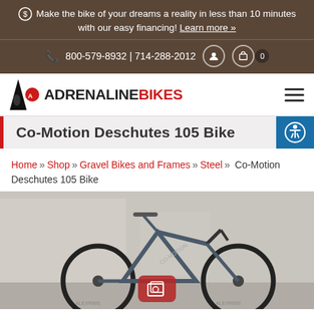Make the bike of your dreams a reality in less than 10 minutes with our easy financing! Learn more »
📞 800-579-8932 | 714-288-2012
[Figure (logo): Adrenaline Bikes logo with cyclist icon and hamburger menu icon]
Co-Motion Deschutes 105 Bike
Home » Shop » Gravel Bikes and Frames » Steel » Co-Motion Deschutes 105 Bike
[Figure (photo): Grey Co-Motion Deschutes 105 road/gravel bike parked outdoors in front of a building, with ALEXRIMS wheels visible]